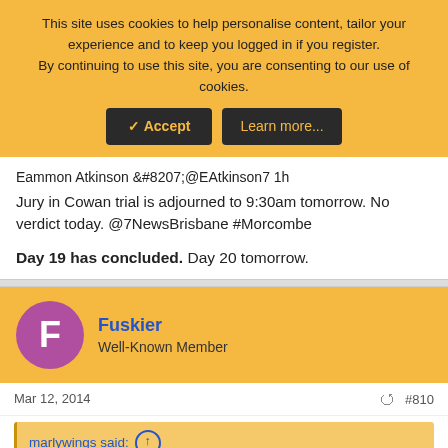This site uses cookies to help personalise content, tailor your experience and to keep you logged in if you register. By continuing to use this site, you are consenting to our use of cookies.
✓ Accept | Learn more...
Eammon Atkinson &#8207;@EAtkinson7 1h
Jury in Cowan trial is adjourned to 9:30am tomorrow. No verdict today. @7NewsBrisbane #Morcombe
Day 19 has concluded. Day 20 tomorrow.
Fuskier
Well-Known Member
Mar 12, 2014
#810
marlywings said:
Thinking of Daniel, Bruce & Denise Morcombe, family & friends...